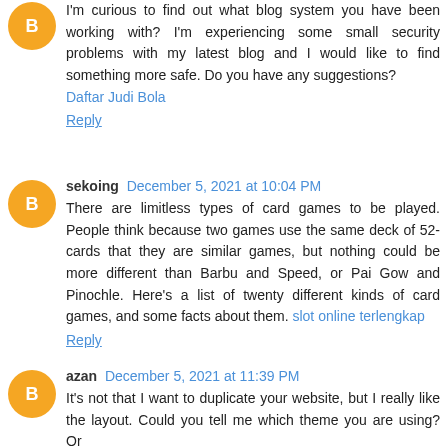I'm curious to find out what blog system you have been working with? I'm experiencing some small security problems with my latest blog and I would like to find something more safe. Do you have any suggestions? Daftar Judi Bola
Reply
sekoing  December 5, 2021 at 10:04 PM
There are limitless types of card games to be played. People think because two games use the same deck of 52-cards that they are similar games, but nothing could be more different than Barbu and Speed, or Pai Gow and Pinochle. Here's a list of twenty different kinds of card games, and some facts about them. slot online terlengkap
Reply
azan  December 5, 2021 at 11:39 PM
It's not that I want to duplicate your website, but I really like the layout. Could you tell me which theme you are using? Or